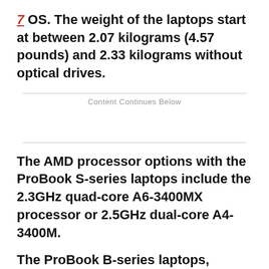7 OS. The weight of the laptops start at between 2.07 kilograms (4.57 pounds) and 2.33 kilograms without optical drives.
Content Continues Below
The AMD processor options with the ProBook S-series laptops include the 2.3GHz quad-core A6-3400MX processor or 2.5GHz dual-core A4-3400M.
The ProBook B-series laptops, priced starting at $679, includes the 14-inch screen 6465B, and a 15.6-inch screen 6565B. The laptops come with either the quad-core A8-3510MX processor